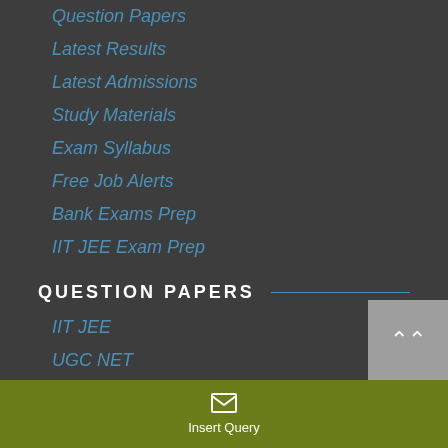Question Papers
Latest Results
Latest Admissions
Study Materials
Exam Syllabus
Free Job Alerts
Bank Exams Prep
IIT JEE Exam Prep
QUESTION PAPERS
IIT JEE
UGC NET
IBPS Exams
UPSC Exams
SSC Exams
Insert Query